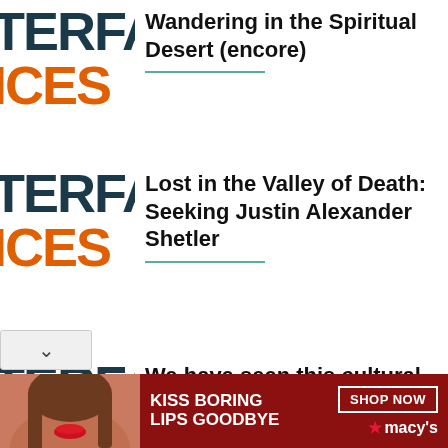[Figure (logo): Partial logo showing TERFA in dark teal and ICES in orange, clipped on left]
Wandering in the Spiritual Desert (encore)
[Figure (logo): Partial logo showing TERFA in dark teal and ICES in orange, clipped on left]
Lost in the Valley of Death: Seeking Justin Alexander Shetler
[Figure (logo): Partial logo showing TERFA in dark teal and ICES in orange, clipped on left]
We have seen this cultural shift happen in Hollywood.
[Figure (illustration): Advertisement banner: red background with woman face, KISS BORING LIPS GOODBYE text, SHOP NOW button, Macy's star logo]